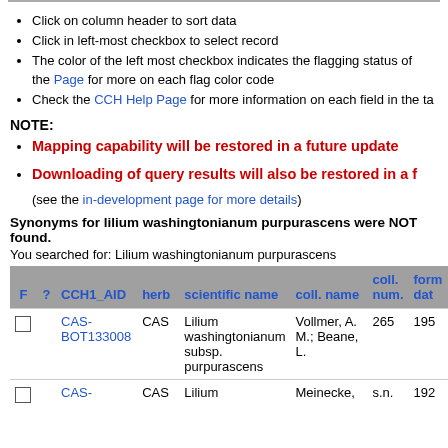Click on column header to sort data
Click in left-most checkbox to select record
The color of the left most checkbox indicates the flagging status of the Page for more on each flag color code
Check the CCH Help Page for more information on each field in the ta
NOTE:
Mapping capability will be restored in a future update
Downloading of query results will also be restored in a future update
(see the in-development page for more details)
Synonyms for lilium washingtonianum purpurascens were NOT found.
You searched for: Lilium washingtonianum purpurascens
| F | ? | CCH1_AID | herb | scientific name | coll. name | coll. num. | form. dat |
| --- | --- | --- | --- | --- | --- | --- | --- |
| ☐ |  | CAS-BOT133008 | CAS | Lilium washingtonianum subsp. purpurascens | Vollmer, A. M.; Beane, L. | 265 | 195 |
| ☐ |  | CAS- | CAS | Lilium | Meinecke, | s.n. | 192 |